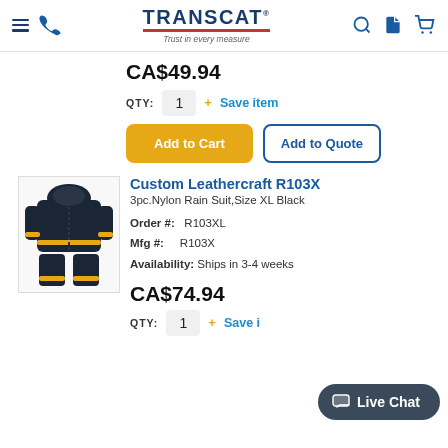TRANSCAT - Trust in every measure
CA$49.94
QTY: 1 + Save item
Add to Cart | Add to Quote
[Figure (photo): Black hooded nylon rain suit with yellow accents, showing jacket and pants]
Custom Leathercraft R103X
3pc.Nylon Rain Suit,Size XL Black
Order #: R103XL
Mfg #: R103X
Availability: Ships in 3-4 weeks
CA$74.94
QTY: 1 + Save item
Live Chat